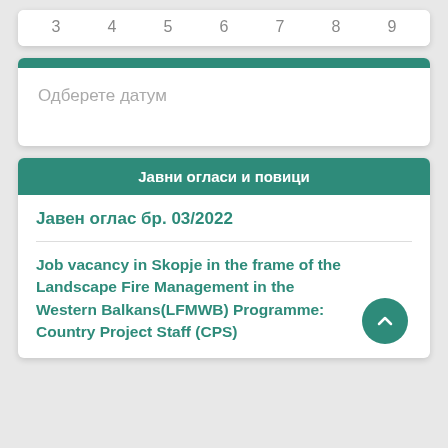| 3 | 4 | 5 | 6 | 7 | 8 | 9 |
| --- | --- | --- | --- | --- | --- | --- |
Одберете датум
Јавни огласи и повици
Јавен оглас бр. 03/2022
Job vacancy in Skopje in the frame of the Landscape Fire Management in the Western Balkans(LFMWB) Programme: Country Project Staff (CPS)